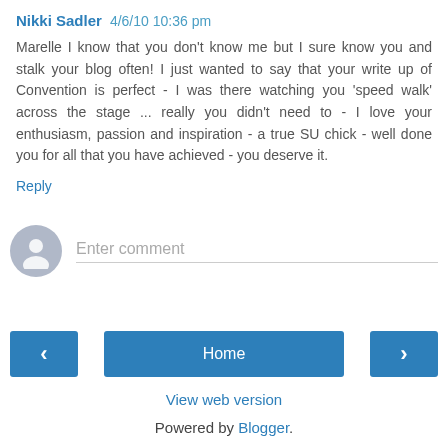Nikki Sadler 4/6/10 10:36 pm
Marelle I know that you don't know me but I sure know you and stalk your blog often! I just wanted to say that your write up of Convention is perfect - I was there watching you 'speed walk' across the stage ... really you didn't need to - I love your enthusiasm, passion and inspiration - a true SU chick - well done you for all that you have achieved - you deserve it.
Reply
[Figure (other): Comment input area with avatar icon and 'Enter comment' placeholder text field]
[Figure (other): Navigation bar with left arrow button, Home button, and right arrow button]
View web version
Powered by Blogger.